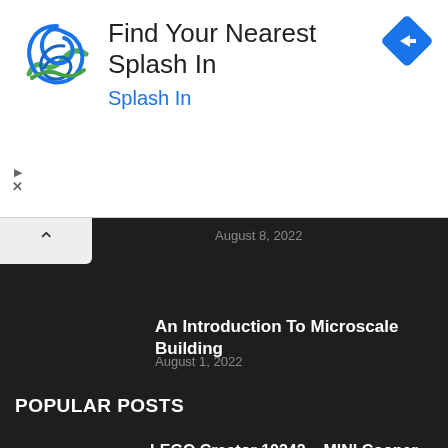[Figure (logo): Splash In logo - swirling wave/water graphic in blue and green]
Find Your Nearest Splash In
Splash In
[Figure (illustration): Blue diamond navigation/directions icon with white arrow pointing right]
August 8, 2022
An Introduction To Microscale Building
August 1, 2022
POPULAR POSTS
LEGO Creator 10242 – MINI Cooper
November 28, 2015
21011: The Brandenburg Gate Reviewed
March 7, 2015